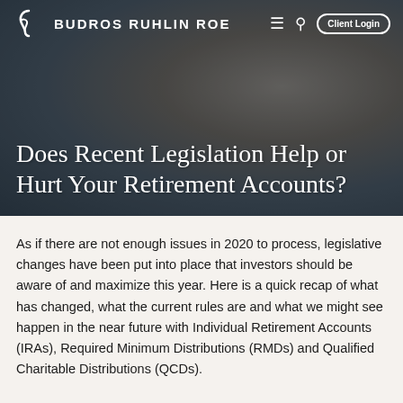[Figure (photo): Hero banner showing an elderly couple embracing and smiling, with a dark overlay. Navigation bar with Budros Ruhlin Roe logo, hamburger menu, search icon, and Client Login button overlaid on top.]
Does Recent Legislation Help or Hurt Your Retirement Accounts?
As if there are not enough issues in 2020 to process, legislative changes have been put into place that investors should be aware of and maximize this year. Here is a quick recap of what has changed, what the current rules are and what we might see happen in the near future with Individual Retirement Accounts (IRAs), Required Minimum Distributions (RMDs) and Qualified Charitable Distributions (QCDs).